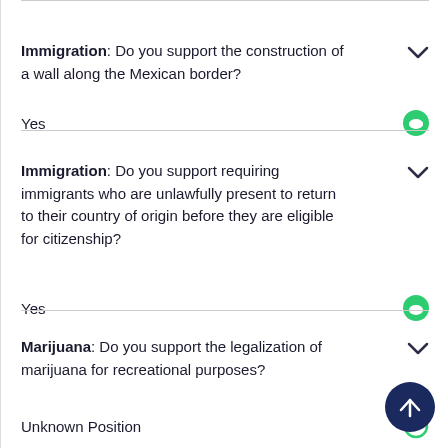Immigration: Do you support the construction of a wall along the Mexican border?
Yes
Immigration: Do you support requiring immigrants who are unlawfully present to return to their country of origin before they are eligible for citizenship?
Yes
Marijuana: Do you support the legalization of marijuana for recreational purposes?
Unknown Position